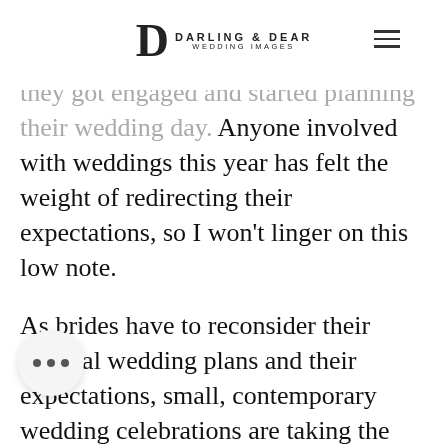[Figure (logo): Darling & Dear Wedding Images logo with stylized D letter mark]
they got engaged and started planning their wedding day. Anyone involved with weddings this year has felt the weight of redirecting their expectations, so I won't linger on this low note.
As brides have to reconsider their original wedding plans and their expectations, small, contemporary wedding celebrations are taking the spotlight. The terms may be used interchangeably, but with some guidance from The Knot, a leader in providing guidance for all couples getting married, let's iron out what defines each wedding type and help determine how you may benefit from each in revising your wedding plan